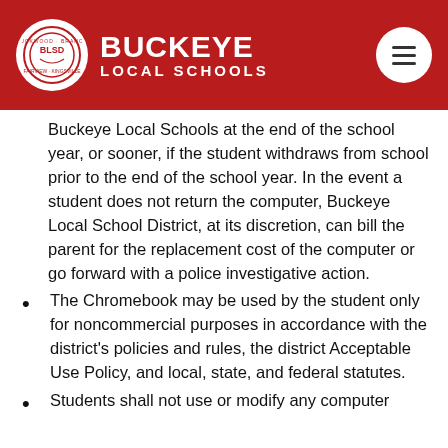Buckeye Local Schools
Buckeye Local Schools at the end of the school year, or sooner, if the student withdraws from school prior to the end of the school year. In the event a student does not return the computer, Buckeye Local School District, at its discretion, can bill the parent for the replacement cost of the computer or go forward with a police investigative action.
The Chromebook may be used by the student only for noncommercial purposes in accordance with the district's policies and rules, the district Acceptable Use Policy, and local, state, and federal statutes.
Students shall not use or modify any computer